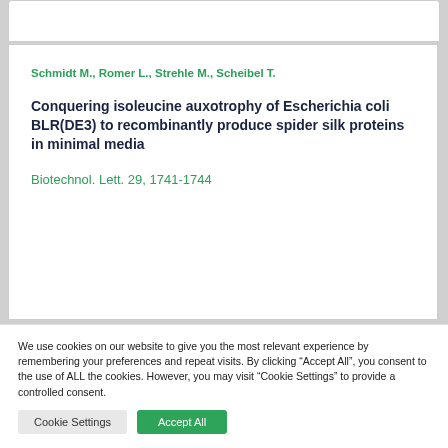Schmidt M., Romer L., Strehle M., Scheibel T.
Conquering isoleucine auxotrophy of Escherichia coli BLR(DE3) to recombinantly produce spider silk proteins in minimal media
Biotechnol. Lett. 29, 1741-1744
We use cookies on our website to give you the most relevant experience by remembering your preferences and repeat visits. By clicking “Accept All”, you consent to the use of ALL the cookies. However, you may visit "Cookie Settings" to provide a controlled consent.